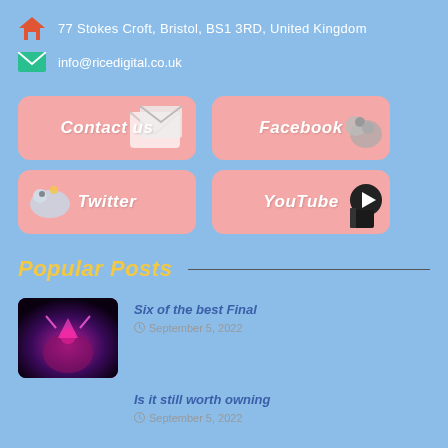77 Stokes Croft, Bristol, BS1 3RD, United Kingdom
info@ricedigital.co.uk
[Figure (infographic): Four social/contact buttons: Contact us, Facebook, Twitter, YouTube — pink rounded rectangles with white italic text and cartoon mascot icons]
Popular Posts
[Figure (photo): Dark fantasy game screenshot with glowing purple and pink boss character]
Six of the best Final
September 5, 2022
Is it still worth owning
September 5, 2022